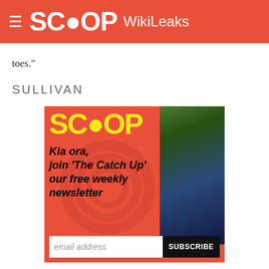SCOOP WikiLeaks
toes."
SULLIVAN
[Figure (infographic): Scoop newsletter advertisement with coral/red background, yellow SCOOP logo, swirl watermark, tui bird photo on right, italic black text 'Kia ora, join \'The Catch Up\' our free weekly newsletter', email input field and black SUBSCRIBE button at bottom]
© Scoop Media